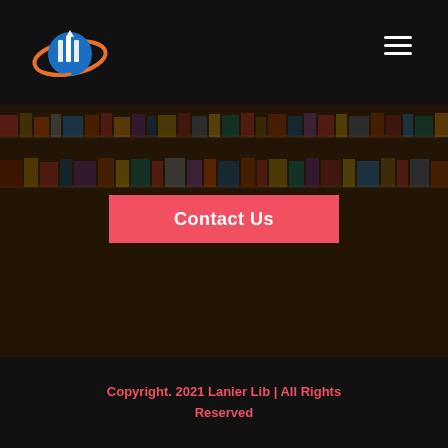[Figure (logo): Lanier Lib circular logo with books and orbit ring in orange and blue]
[Figure (photo): Blurred library bookshelf photo showing rows of colorful books with dark overlay]
Contact Us
Copyright. 2021 Lanier Lib | All Rights Reserved